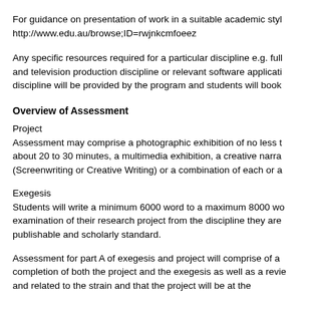For guidance on presentation of work in a suitable academic style http://www.edu.au/browse;ID=rwjnkcmfoeez
Any specific resources required for a particular discipline e.g. full and television production discipline or relevant software applications discipline will be provided by the program and students will book
Overview of Assessment
Project
Assessment may comprise a photographic exhibition of no less than about 20 to 30 minutes, a multimedia exhibition, a creative narrative (Screenwriting or Creative Writing) or a combination of each or a
Exegesis
Students will write a minimum 6000 word to a maximum 8000 word examination of their research project from the discipline they are publishable and scholarly standard.
Assessment for part A of exegesis and project will comprise of a completion of both the project and the exegesis as well as a review and related to the strain and that the project will be at the